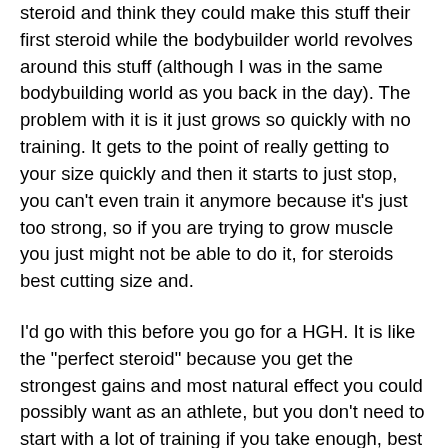steroid and think they could make this stuff their first steroid while the bodybuilder world revolves around this stuff (although I was in the same bodybuilding world as you back in the day). The problem with it is it just grows so quickly with no training. It gets to the point of really getting to your size quickly and then it starts to just stop, you can't even train it anymore because it's just too strong, so if you are trying to grow muscle you just might not be able to do it, for steroids best cutting size and.
I'd go with this before you go for a HGH. It is like the "perfect steroid" because you get the strongest gains and most natural effect you could possibly want as an athlete, but you don't need to start with a lot of training if you take enough, best steroids for cutting 2021.